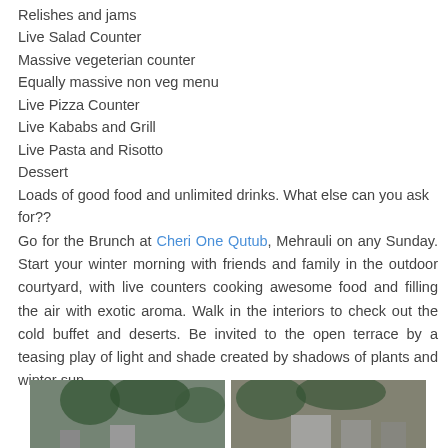Relishes and jams
Live Salad Counter
Massive vegeterian counter
Equally massive non veg menu
Live Pizza Counter
Live Kababs and Grill
Live Pasta and Risotto
Dessert
Loads of good food and unlimited drinks. What else can you ask for??
Go for the Brunch at Cheri One Qutub, Mehrauli on any Sunday. Start your winter morning with friends and family in the outdoor courtyard, with live counters cooking awesome food and filling the air with exotic aroma. Walk in the interiors to check out the cold buffet and deserts. Be invited to the open terrace by a teasing play of light and shade created by shadows of plants and winter sun.
[Figure (photo): Two outdoor photos of the restaurant/courtyard area]